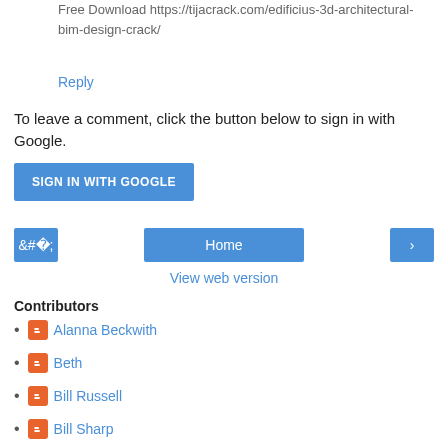Free Download https://tijacrack.com/edificius-3d-architectural-bim-design-crack/
Reply
To leave a comment, click the button below to sign in with Google.
[Figure (other): Blue SIGN IN WITH GOOGLE button]
[Figure (other): Navigation bar with left arrow, Home button, and right arrow]
View web version
Contributors
Alanna Beckwith
Beth
Bill Russell
Bill Sharp